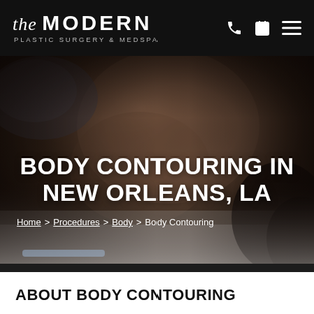the MODERN PLASTIC SURGERY & MEDSPA
[Figure (photo): Close-up photo of a woman's torso in a grey sports bra lying on white sheets, dark moody lighting for body contouring service page]
BODY CONTOURING IN NEW ORLEANS, LA
Home > Procedures > Body > Body Contouring
ABOUT BODY CONTOURING
The term body contouring is one used in the